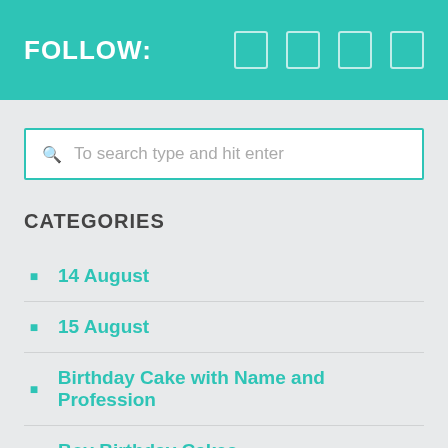FOLLOW:
To search type and hit enter
CATEGORIES
14 August
15 August
Birthday Cake with Name and Profession
Boy Birthday Cakes